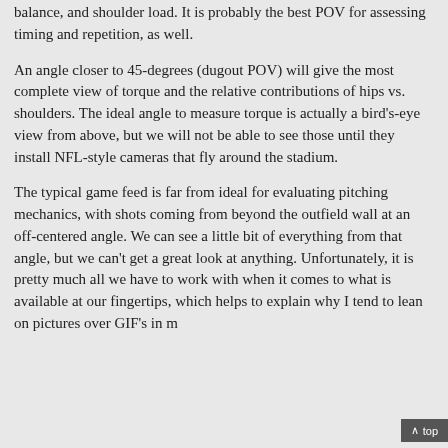balance, and shoulder load. It is probably the best POV for assessing timing and repetition, as well.
An angle closer to 45-degrees (dugout POV) will give the most complete view of torque and the relative contributions of hips vs. shoulders. The ideal angle to measure torque is actually a bird's-eye view from above, but we will not be able to see those until they install NFL-style cameras that fly around the stadium.
The typical game feed is far from ideal for evaluating pitching mechanics, with shots coming from beyond the outfield wall at an off-centered angle. We can see a little bit of everything from that angle, but we can't get a great look at anything. Unfortunately, it is pretty much all we have to work with when it comes to what is available at our fingertips, which helps to explain why I tend to lean on pictures over GIF's in m...